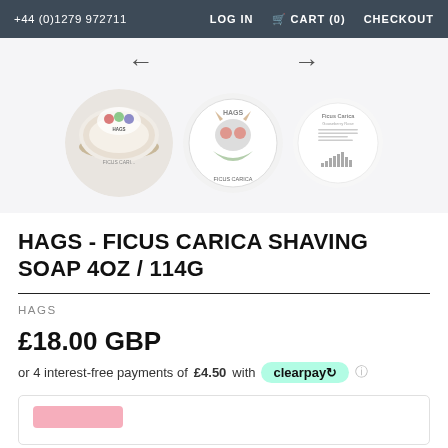+44 (0)1279 972711  LOG IN  CART (0)  CHECKOUT
[Figure (photo): Three circular product images of HAGS Ficus Carica Shaving Soap: left shows soap tin with product inside, middle shows decorated tin lid with skull design, right shows product label with ingredients text and bar chart.]
HAGS - FICUS CARICA SHAVING SOAP 4OZ / 114G
HAGS
£18.00 GBP
or 4 interest-free payments of £4.50 with clearpay ℹ